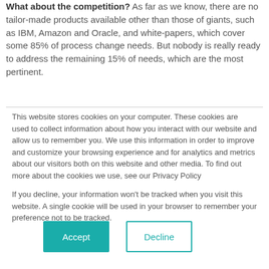What about the competition? As far as we know, there are no tailor-made products available other than those of giants, such as IBM, Amazon and Oracle, and white-papers, which cover some 85% of process change needs. But nobody is really ready to address the remaining 15% of needs, which are the most pertinent.
This website stores cookies on your computer. These cookies are used to collect information about how you interact with our website and allow us to remember you. We use this information in order to improve and customize your browsing experience and for analytics and metrics about our visitors both on this website and other media. To find out more about the cookies we use, see our Privacy Policy
If you decline, your information won't be tracked when you visit this website. A single cookie will be used in your browser to remember your preference not to be tracked.